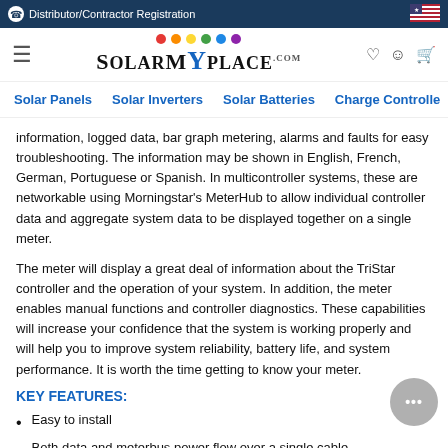Distributor/Contractor Registration
[Figure (logo): SolarMyPlace.com logo with colorful dots above text]
Solar Panels   Solar Inverters   Solar Batteries   Charge Controlle
information, logged data, bar graph metering, alarms and faults for easy troubleshooting. The information may be shown in English, French, German, Portuguese or Spanish. In multicontroller systems, these are networkable using Morningstar’s MeterHub to allow individual controller data and aggregate system data to be displayed together on a single meter.
The meter will display a great deal of information about the TriStar controller and the operation of your system. In addition, the meter enables manual functions and controller diagnostics. These capabilities will increase your confidence that the system is working properly and will help you to improve system reliability, battery life, and system performance. It is worth the time getting to know your meter.
KEY FEATURES:
Easy to install
Both data and meterbus power flow over a single cable